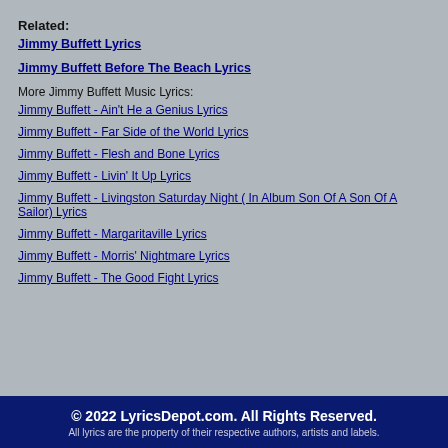Related:
Jimmy Buffett Lyrics
Jimmy Buffett Before The Beach Lyrics
More Jimmy Buffett Music Lyrics:
Jimmy Buffett - Ain't He a Genius Lyrics
Jimmy Buffett - Far Side of the World Lyrics
Jimmy Buffett - Flesh and Bone Lyrics
Jimmy Buffett - Livin' It Up Lyrics
Jimmy Buffett - Livingston Saturday Night ( In Album Son Of A Son Of A Sailor) Lyrics
Jimmy Buffett - Margaritaville Lyrics
Jimmy Buffett - Morris' Nightmare Lyrics
Jimmy Buffett - The Good Fight Lyrics
© 2022 LyricsDepot.com. All Rights Reserved. All lyrics are the property of their respective authors, artists and labels.